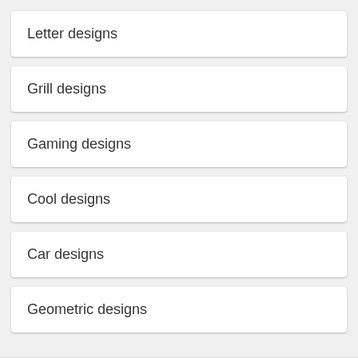Letter designs
Grill designs
Gaming designs
Cool designs
Car designs
Geometric designs